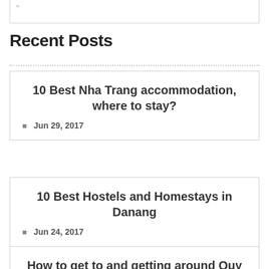Recent Posts
10 Best Nha Trang accommodation, where to stay?
Jun 29, 2017
10 Best Hostels and Homestays in Danang
Jun 24, 2017
How to get to and getting around Quy Nhon?